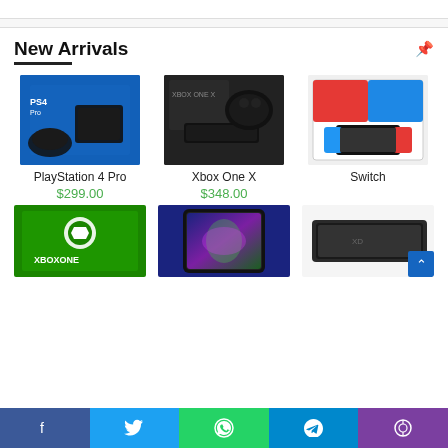New Arrivals
[Figure (photo): PlayStation 4 Pro product box image on blue background]
PlayStation 4 Pro
$299.00
[Figure (photo): Xbox One X console and controller on dark background]
Xbox One X
$348.00
[Figure (photo): Nintendo Switch console box image]
Switch
[Figure (photo): Xbox One green box]
[Figure (photo): LG phone with colorful display]
[Figure (photo): Dark tablet device]